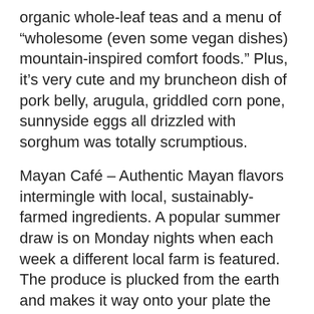organic whole-leaf teas and a menu of “wholesome (even some vegan dishes) mountain-inspired comfort foods.” Plus, it’s very cute and my bruncheon dish of pork belly, arugula, griddled corn pone, sunnyside eggs all drizzled with sorghum was totally scrumptious.
Mayan Café – Authentic Mayan flavors intermingle with local, sustainably-farmed ingredients. A popular summer draw is on Monday nights when each week a different local farm is featured. The produce is plucked from the earth and makes it way onto your plate the very same day. I could eat a phone book if it was topped with Chef Ucan’s mole sauce.
Sweeties: